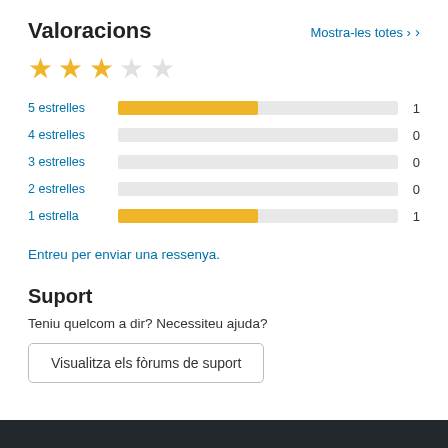Valoracions
Mostra-les totes ›
[Figure (other): 3 filled yellow stars and 2 empty stars representing a rating of 3 out of 5]
[Figure (bar-chart): Valoracions per estrelles]
Entreu per enviar una ressenya.
Suport
Teniu quelcom a dir? Necessiteu ajuda?
Visualitza els fòrums de suport